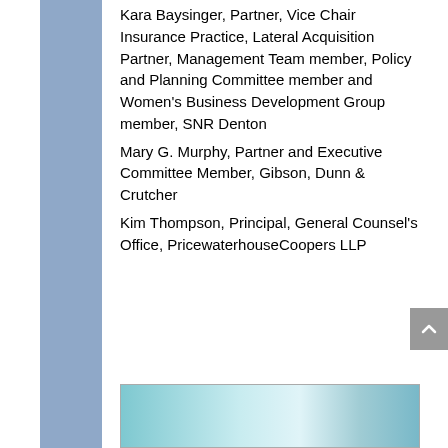Kara Baysinger, Partner, Vice Chair Insurance Practice, Lateral Acquisition Partner, Management Team member, Policy and Planning Committee member and Women's Business Development Group member, SNR Denton
Mary G. Murphy, Partner and Executive Committee Member, Gibson, Dunn & Crutcher
Kim Thompson, Principal, General Counsel's Office, PricewaterhouseCoopers LLP
[Figure (photo): Partial photo visible at bottom of page, appears to show a building interior or architectural detail with blue/teal tones]